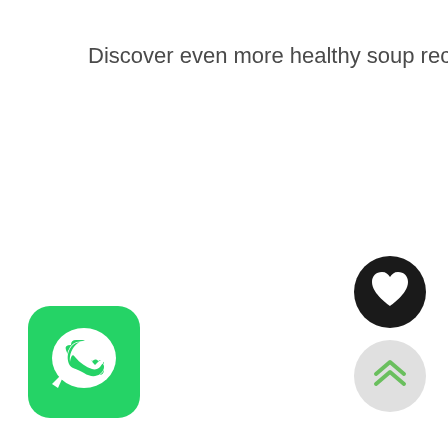Discover even more healthy soup recipes.
[Figure (logo): WhatsApp app icon — green rounded square with white phone handset inside speech bubble]
[Figure (other): Black circular button with white heart icon (favorite/like button)]
[Figure (other): Light gray circular button with green double-chevron up arrow (scroll to top button)]